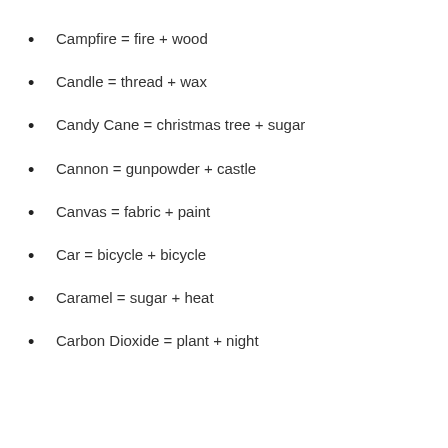Campfire = fire + wood
Candle = thread + wax
Candy Cane = christmas tree + sugar
Cannon = gunpowder + castle
Canvas = fabric + paint
Car = bicycle + bicycle
Caramel = sugar + heat
Carbon Dioxide = plant + night